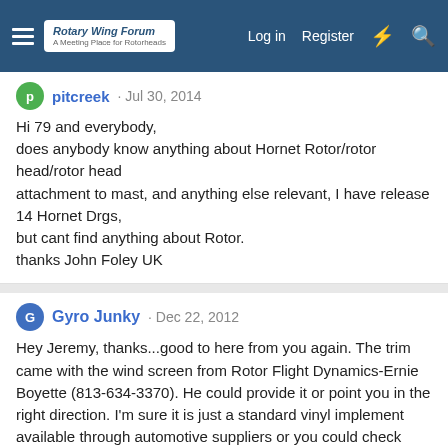Rotary Wing Forum — A Meeting Place for Rotorheads | Log in | Register
pitcreek · Jul 30, 2014
Hi 79 and everybody,
does anybody know anything about Hornet Rotor/rotor head/rotor head
attachment to mast, and anything else relevant, I have release 14 Hornet Drgs,
but cant find anything about Rotor.
thanks John Foley UK
Gyro Junky · Dec 22, 2012
Hey Jeremy, thanks...good to here from you again. The trim came with the wind screen from Rotor Flight Dynamics-Ernie Boyette (813-634-3370). He could provide it or point you in the right direction. I'm sure it is just a standard vinyl implement available through automotive suppliers or you could check with Aircraft Spruce or Leading Edge Airfoil for their offerings. Try to find an adhesive that deals with summer sun and heat. My only problem has been the adhesive leaching out of the seam, on